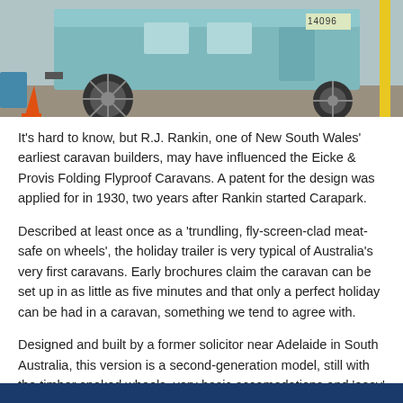[Figure (photo): Photo of a vintage caravan/trailer showing timber spoked wheels and teal-coloured body, with a traffic cone visible at left and a yellow pole at right. A number plate reading 14096 is visible.]
It's hard to know, but R.J. Rankin, one of New South Wales' earliest caravan builders, may have influenced the Eicke & Provis Folding Flyproof Caravans. A patent for the design was applied for in 1930, two years after Rankin started Carapark.
Described at least once as a 'trundling, fly-screen-clad meat-safe on wheels', the holiday trailer is very typical of Australia's very first caravans. Early brochures claim the caravan can be set up in as little as five minutes and that only a perfect holiday can be had in a caravan, something we tend to agree with.
Designed and built by a former solicitor near Adelaide in South Australia, this version is a second-generation model, still with the timber spoked wheels, very basic accomodations and 'easy' set-up.
1947 CARAPARK SUPURB